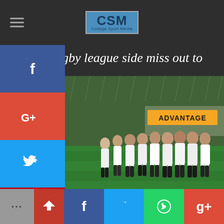CSM College Sport Media
NZ 18s rugby league side miss out to Australia
[Figure (photo): Rugby league players in white uniforms walking on a rain-soaked green field, with an ADVANTAGE advertising board in the background]
[Figure (infographic): Social media share buttons: Facebook, Google+, Twitter, Pinterest, Blogger on left sidebar; More, Share, Facebook, Twitter, WhatsApp, Google+ on bottom bar]